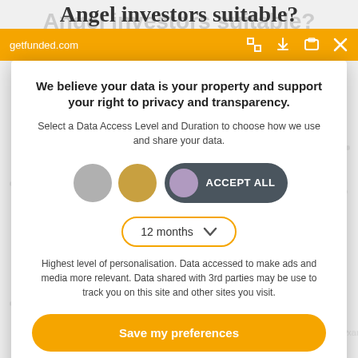Angel investors suitable?
getfunded.com
We believe your data is your property and support your right to privacy and transparency.
Select a Data Access Level and Duration to choose how we use and share your data.
[Figure (screenshot): Three toggle/privacy level circles (gray, gold, purple) followed by an ACCEPT ALL pill button on dark background]
[Figure (screenshot): Dropdown showing '12 months' with orange border and chevron]
Highest level of personalisation. Data accessed to make ads and media more relevant. Data shared with 3rd parties may be use to track you on this site and other sites you visit.
Save my preferences
Customize    Privacy policy